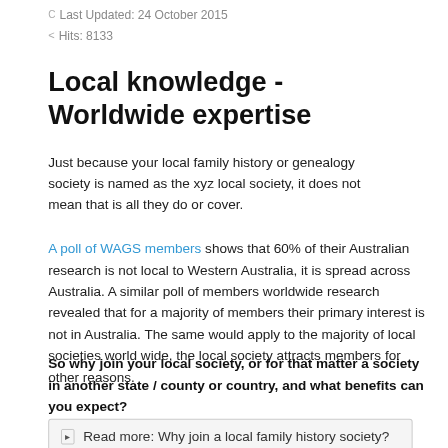C  Last Updated: 24 October 2015
<  Hits: 8133
Local knowledge - Worldwide expertise
Just because your local family history or genealogy society is named as the xyz local society, it does not mean that is all they do or cover.
A poll of WAGS members shows that 60% of their Australian research is not local to Western Australia, it is spread across Australia. A similar poll of members worldwide research revealed that for a majority of members their primary interest is not in Australia. The same would apply to the majority of local societies world wide, the local society attracts members for other reasons.
So why join your local society, or for that matter a society in another state / county or country, and what benefits can you expect?
Read more: Why join a local family history society?
One thing leads to another - it